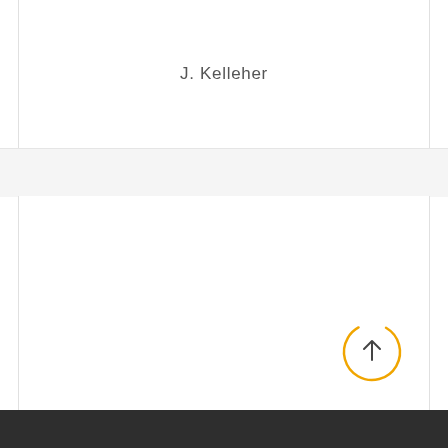J. Kelleher
[Figure (other): Circular progress/scroll-to-top button with orange partial circle arc and upward arrow icon in dark gray, positioned in the lower right area of the page]